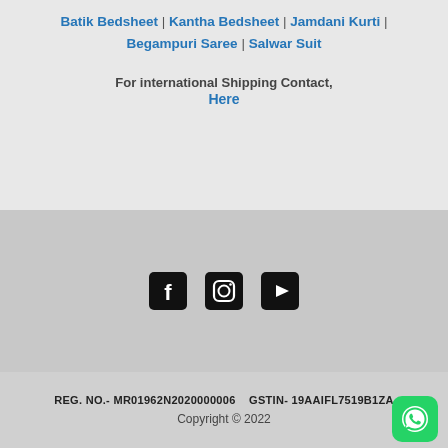Batik Bedsheet | Kantha Bedsheet | Jamdani Kurti | Begampuri Saree | Salwar Suit
For international Shipping Contact,
Here
[Figure (other): Social media icons: Facebook, Instagram, YouTube]
REG. NO.- MR01962N2020000006    GSTIN- 19AAIFL7519B1ZA
Copyright © 2022